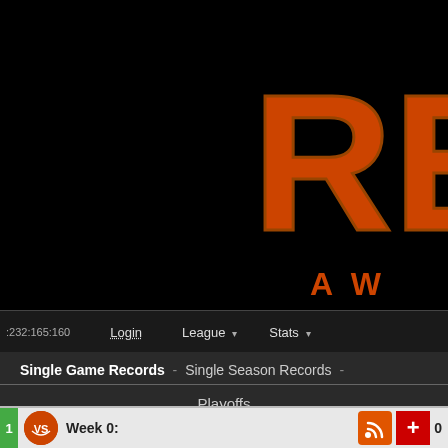[Figure (logo): Partial logo with large orange/red letters 'RET' on black background with subtitle 'A W']
Login   League ▾   Stats ▾
Single Game Records - Single Season Records -
Playoffs
1970 Passing Stats
| Name | Team | Comps | Atts | % |
| --- | --- | --- | --- | --- |
| Wayne Clark | Dolphins | 19 | 27 | 70% |
| Roger Staubach | Dolphins | 90 | 126 | 71% |
1   VS   Week 0:   0